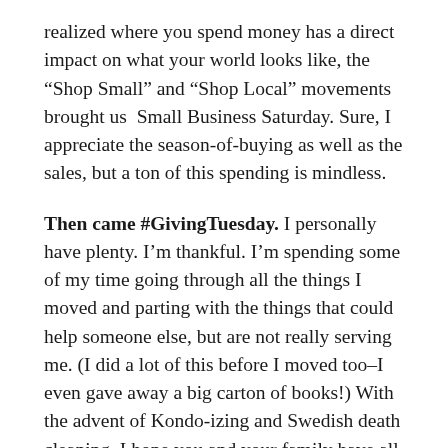realized where you spend money has a direct impact on what your world looks like, the “Shop Small” and “Shop Local” movements brought us  Small Business Saturday. Sure, I appreciate the season-of-buying as well as the sales, but a ton of this spending is mindless.
Then came #GivingTuesday. I personally have plenty. I’m thankful. I’m spending some of my time going through all the things I moved and parting with the things that could help someone else, but are not really serving me. (I did a lot of this before I moved too–I even gave away a big carton of books!) With the advent of Kondo-izing and Swedish death cleaning, I hope you and your family have all of the stuff you actually need and maybe you are even living with an eye towards not acquiring more stuff you don’t. Sure, things wear out and need to be replaced, and new gadgets come out that are critical (or at least